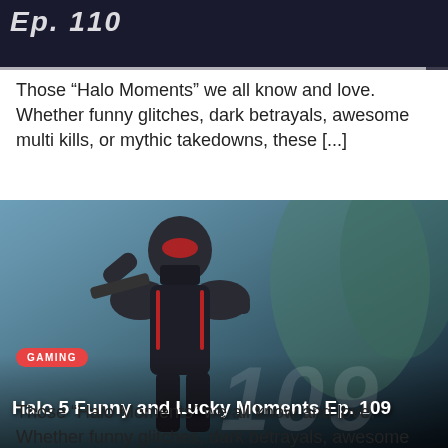[Figure (screenshot): Dark gaming thumbnail showing 'Ep. 110' text with a progress bar at the bottom, partially visible at top of page]
Those “Halo Moments” we all know and love. Whether funny glitches, dark betrayals, awesome multi kills, or mythic takedowns, these [...]
[Figure (screenshot): Gaming thumbnail for 'Halo 5 Funny and Lucky Moments Ep. 109' showing a Halo spartan character in black and red armor in a snowy/dark outdoor scene, with GAMING badge and Ep. 109 overlay text]
Those “Halo Moments” we all know and love. Whether funny glitches, dark betrayals, awesome...